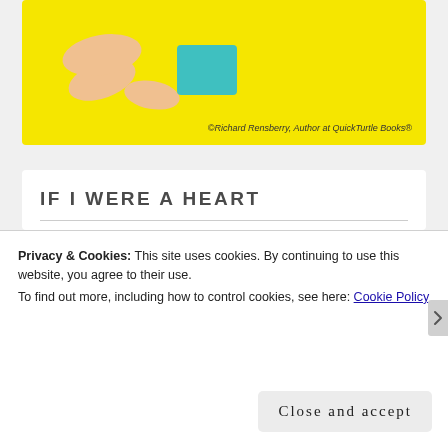[Figure (illustration): Partial view of a yellow book cover showing a cartoon character and copyright text: ©Richard Rensberry, Author at QuickTurtle Books®]
IF I WERE A HEART
[Figure (illustration): Yellow book cover showing 'If I Were A HEART' in bold dark text on yellow background]
Privacy & Cookies: This site uses cookies. By continuing to use this website, you agree to their use.
To find out more, including how to control cookies, see here: Cookie Policy
Close and accept